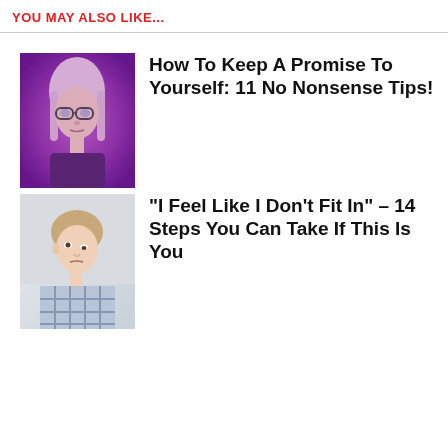YOU MAY ALSO LIKE...
[Figure (photo): Young woman with glasses under purple/pink lighting]
How To Keep A Promise To Yourself: 11 No Nonsense Tips!
[Figure (photo): Young man in plaid shirt looking downward, serious expression]
"I Feel Like I Don't Fit In" – 14 Steps You Can Take If This Is You